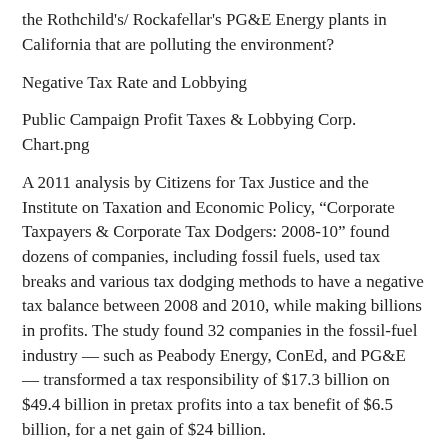the Rothchild's/ Rockafellar's PG&E Energy plants in California that are polluting the environment?
Negative Tax Rate and Lobbying
Public Campaign Profit Taxes & Lobbying Corp. Chart.png
A 2011 analysis by Citizens for Tax Justice and the Institute on Taxation and Economic Policy, “Corporate Taxpayers & Corporate Tax Dodgers: 2008-10” found dozens of companies, including fossil fuels, used tax breaks and various tax dodging methods to have a negative tax balance between 2008 and 2010, while making billions in profits. The study found 32 companies in the fossil-fuel industry — such as Peabody Energy, ConEd, and PG&E — transformed a tax responsibility of $17.3 billion on $49.4 billion in pretax profits into a tax benefit of $6.5 billion, for a net gain of $24 billion.
The companies that paid no tax for at least one year